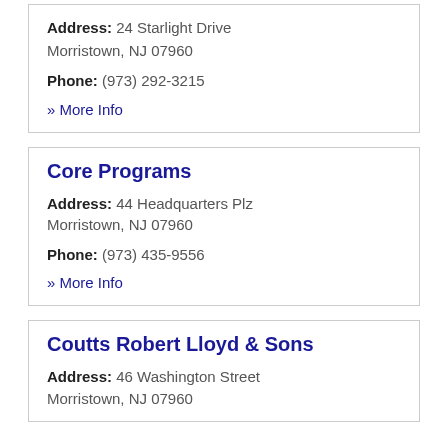Address: 24 Starlight Drive Morristown, NJ 07960
Phone: (973) 292-3215
» More Info
Core Programs
Address: 44 Headquarters Plz Morristown, NJ 07960
Phone: (973) 435-9556
» More Info
Coutts Robert Lloyd & Sons
Address: 46 Washington Street Morristown, NJ 07960